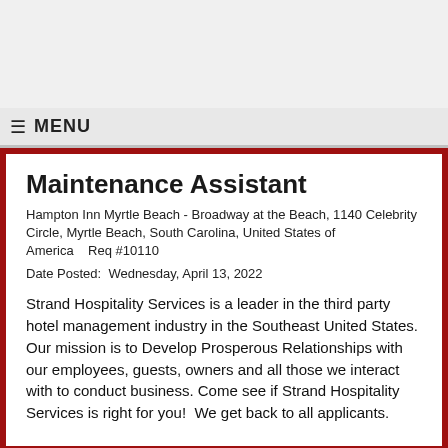MENU
Maintenance Assistant
Hampton Inn Myrtle Beach - Broadway at the Beach, 1140 Celebrity Circle, Myrtle Beach, South Carolina, United States of America    Req #10110
Date Posted:  Wednesday, April 13, 2022
Strand Hospitality Services is a leader in the third party hotel management industry in the Southeast United States. Our mission is to Develop Prosperous Relationships with our employees, guests, owners and all those we interact with to conduct business. Come see if Strand Hospitality Services is right for you!  We get back to all applicants.